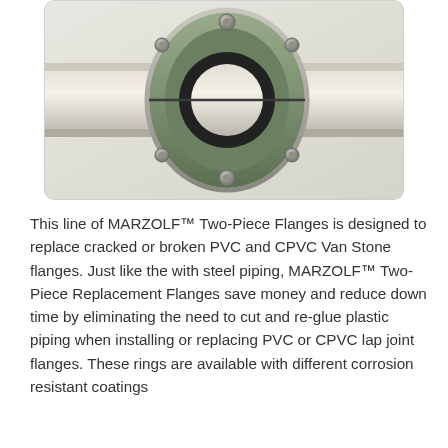[Figure (photo): Close-up photograph of a MARZOLF Two-Piece flange assembly showing a grey/beige PVC pipe passing through a metal split flange with bolts and a black gasket ring, against a light background.]
This line of MARZOLF™ Two-Piece Flanges is designed to replace cracked or broken PVC and CPVC Van Stone flanges. Just like the with steel piping, MARZOLF™ Two-Piece Replacement Flanges save money and reduce down time by eliminating the need to cut and re-glue plastic piping when installing or replacing PVC or CPVC lap joint flanges. These rings are available with different corrosion resistant coatings